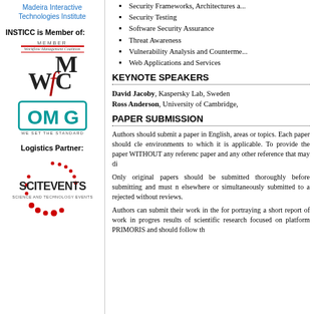Madeira Interactive Technologies Institute
INSTICC is Member of:
[Figure (logo): WfMC (Workflow Management Coalition) member logo with large stylized letters W, f, M, C and a red bar with italic text]
[Figure (logo): OMG (Object Management Group) logo with teal letters OMG and text WE SET THE STANDARD]
Logistics Partner:
[Figure (logo): SCITEVENTS Science and Technology Events logo with red dots arranged in a circle]
Security Frameworks, Architectures a...
Security Testing
Software Security Assurance
Threat Awareness
Vulnerability Analysis and Counterme...
Web Applications and Services
KEYNOTE SPEAKERS
David Jacoby, Kaspersky Lab, Sweden
Ross Anderson, University of Cambridge,
PAPER SUBMISSION
Authors should submit a paper in English, areas or topics. Each paper should cle environments to which it is applicable. To provide the paper WITHOUT any referenc paper and any other reference that may di
Only original papers should be submitted thoroughly before submitting and must n elsewhere or simultaneously submitted to a rejected without reviews.
Authors can submit their work in the for portraying a short report of work in progres results of scientific research focused on platform PRIMORIS and should follow th